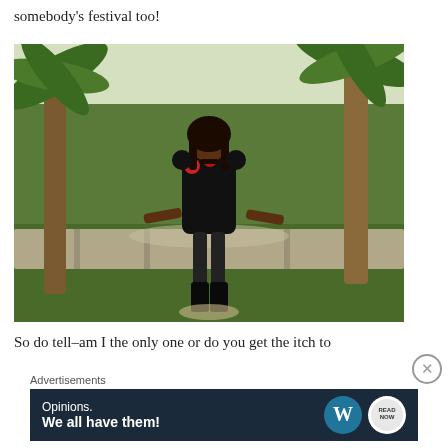somebody's festival too!
[Figure (photo): A woman in a black dress with red floral detail and black stockings, sitting on a stone wall in a garden with palm trees and tropical greenery in the background.]
So do tell–am I the only one or do you get the itch to
Advertisements
[Figure (other): Advertisement banner: dark navy background with text 'Opinions. We all have them!' and WordPress and Read Now logos on the right.]